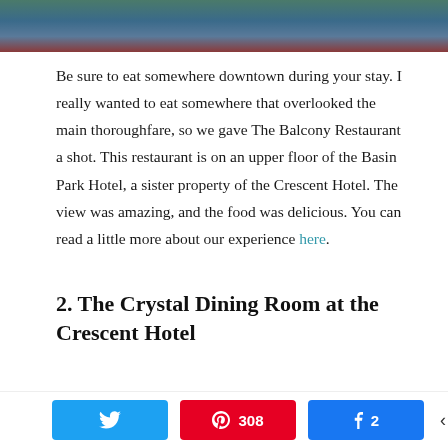[Figure (photo): Partial photo strip at top of page showing outdoor scene with green foliage and dark background with red/yellow tones]
Be sure to eat somewhere downtown during your stay. I really wanted to eat somewhere that overlooked the main thoroughfare, so we gave The Balcony Restaurant a shot. This restaurant is on an upper floor of the Basin Park Hotel, a sister property of the Crescent Hotel. The view was amazing, and the food was delicious. You can read a little more about our experience here.
2. The Crystal Dining Room at the Crescent Hotel
We also loved our breakfast during our stay at the Crescent Hotel.
Twitter share button | Pinterest 308 | Facebook 2 | < 310 SHARES